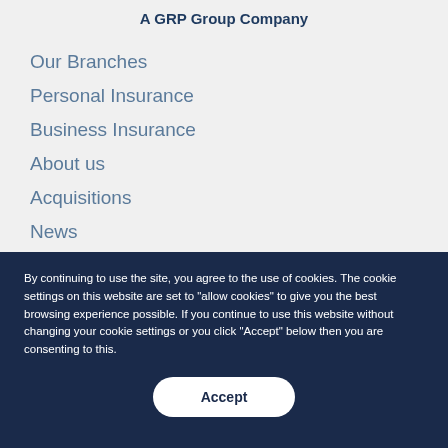A GRP Group Company
Our Branches
Personal Insurance
Business Insurance
About us
Acquisitions
News
By continuing to use the site, you agree to the use of cookies. The cookie settings on this website are set to "allow cookies" to give you the best browsing experience possible. If you continue to use this website without changing your cookie settings or you click "Accept" below then you are consenting to this.
Accept